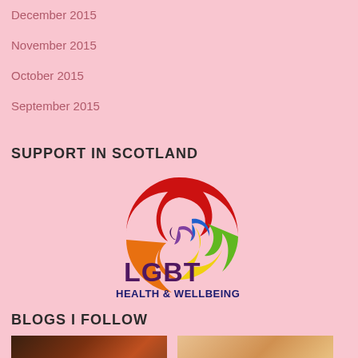December 2015
November 2015
October 2015
September 2015
SUPPORT IN SCOTLAND
[Figure (logo): LGBT Health & Wellbeing logo — colorful swirl in red, orange, yellow, green, blue, purple — with text 'LGBT HEALTH & WELLBEING' below in dark navy/purple]
BLOGS I FOLLOW
[Figure (photo): Dark reddish-brown thumbnail photo on the left]
[Figure (photo): Warm golden/beige thumbnail photo on the right]